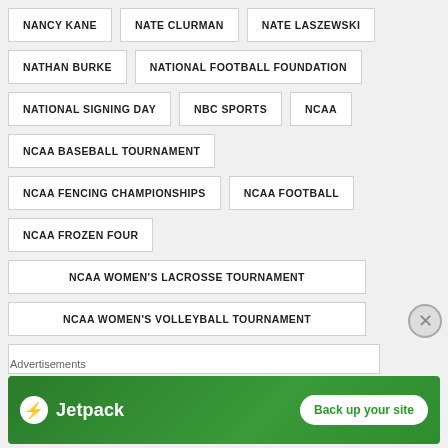NANCY KANE
NATE CLURMAN
NATE LASZEWSKI
NATHAN BURKE
NATIONAL FOOTBALL FOUNDATION
NATIONAL SIGNING DAY
NBC SPORTS
NCAA
NCAA BASEBALL TOURNAMENT
NCAA FENCING CHAMPIONSHIPS
NCAA FOOTBALL
NCAA FROZEN FOUR
NCAA WOMEN'S LACROSSE TOURNAMENT
NCAA WOMEN'S VOLLEYBALL TOURNAMENT
Advertisements
[Figure (infographic): Jetpack advertisement banner with green background showing Jetpack logo and 'Back up your site' button]